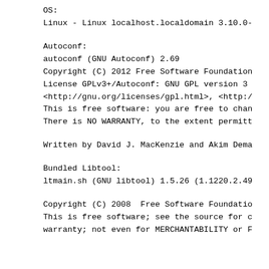OS:
Linux - Linux localhost.localdomain 3.10.0-
Autoconf:
autoconf (GNU Autoconf) 2.69
Copyright (C) 2012 Free Software Foundation
License GPLv3+/Autoconf: GNU GPL version 3
<http://gnu.org/licenses/gpl.html>, <http:/
This is free software: you are free to chan
There is NO WARRANTY, to the extent permitt
Written by David J. MacKenzie and Akim Dema
Bundled Libtool:
ltmain.sh (GNU libtool) 1.5.26 (1.1220.2.49
Copyright (C) 2008  Free Software Foundatio
This is free software; see the source for c
warranty; not even for MERCHANTABILITY or F